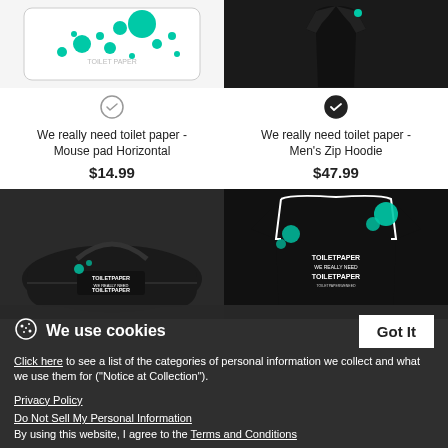[Figure (screenshot): Product thumbnail: mouse pad with teal splatter design on white background]
[Figure (screenshot): Product thumbnail: black zip hoodie worn by male model]
We really need toilet paper - Mouse pad Horizontal
$14.99
We really need toilet paper - Men's Zip Hoodie
$47.99
[Figure (screenshot): Product thumbnail: black duffel bag with toilet paper text design]
[Figure (screenshot): Product thumbnail: black ringer t-shirt with TOILET PAPER WE REALLY NEED TOILET PAPER text and teal splatter design]
We use cookies
Click here to see a list of the categories of personal information we collect and what we use them for ("Notice at Collection").
Privacy Policy
Do Not Sell My Personal Information
By using this website, I agree to the Terms and Conditions
Got It
We really need toilet paper - Duffel Bag
We really need toilet paper - Men's Ringer T-Shirt